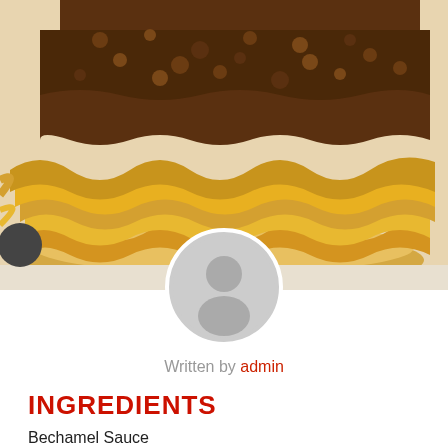[Figure (photo): Close-up photo of layered pasta dish (lasagna-style) with curled ribbon pasta noodles and meat sauce topping, on a white surface]
[Figure (illustration): Gray circular avatar/profile placeholder icon with generic person silhouette]
Written by admin
INGREDIENTS
Bechamel Sauce
½ stick butter cut into pieces
5 tablespoon all purpose flour
3 cups milk
1 teaspoon salt